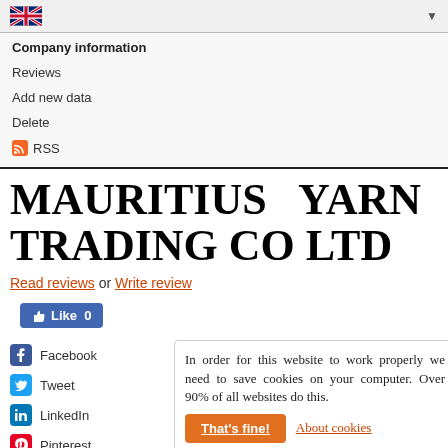UK flag dropdown navigation bar
Company information
Reviews
Add new data
Delete
RSS
MAURITIUS YARN TRADING CO LTD
Read reviews or Write review
Like 0
Facebook
Tweet
LinkedIn
Pinterest
Email
In order for this website to work properly we need to save cookies on your computer. Over 90% of all websites do this.
That's fine!
About cookies